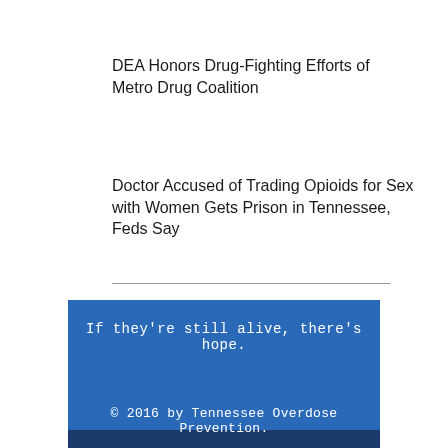DEA Honors Drug-Fighting Efforts of Metro Drug Coalition
Doctor Accused of Trading Opioids for Sex with Women Gets Prison in Tennessee, Feds Say
If they're still alive, there's hope.
© 2016 by Tennessee Overdose Prevention.